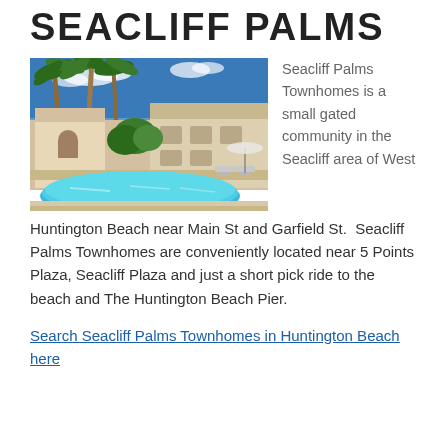SEACLIFF PALMS
[Figure (photo): Outdoor swimming pool area with palm trees and Mediterranean-style townhome buildings in the background under a blue sky.]
Seacliff Palms Townhomes is a small gated community in the Seacliff area of West Huntington Beach near Main St and Garfield St.  Seacliff Palms Townhomes are conveniently located near 5 Points Plaza, Seacliff Plaza and just a short pick ride to the beach and The Huntington Beach Pier.
Search Seacliff Palms Townhomes in Huntington Beach here